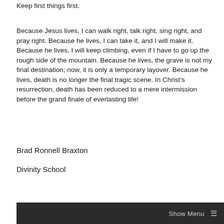Keep first things first.
Because Jesus lives, I can walk right, talk right, sing right, and pray right. Because he lives, I can take it, and I will make it. Because he lives, I will keep climbing, even if I have to go up the rough side of the mountain. Because he lives, the grave is not my final destination; now, it is only a temporary layover. Because he lives, death is no longer the final tragic scene. In Christ’s resurrection, death has been reduced to a mere intermission before the grand finale of everlasting life!
Brad Ronnell Braxton
Divinity School
Show Menu ≡